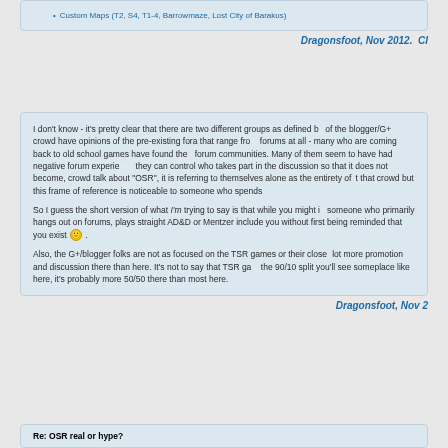Custom Maps (T2, S4, T1-4, Barrowmaze, Lost City of Barakus)
Dragonsfoot, Nov 2012.  Cl
I don't know - it's pretty clear that there are two different groups as defined by of the blogger/G+ crowd have opinions of the pre-existing fora that range from forums at all - many who are coming back to old school games have found the forum communities. Many of them seem to have had negative forum experience they can control who takes part in the discussion so that it does not become, crowd talk about "OSR", it is referring to themselves alone as the entirety of that crowd but this frame of reference is noticeable to someone who spends
So I guess the short version of what I'm trying to say is that while you might in someone who primarily hangs out on forums, plays straight AD&D or Mentzer include you without first being reminded that you exist 🙂 .
Also, the G+/blogger folks are not as focused on the TSR games or their close lot more promotion and discussion there than here. It's not to say that TSR ga the 90/10 split you'll see someplace like here, it's probably more 50/50 there than most here.
Dragonsfoot, Nov 2
Re: OSR real or hype?